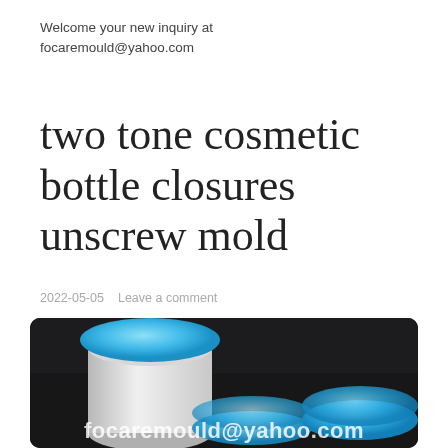Welcome your new inquiry at focaremould@yahoo.com
two tone cosmetic bottle closures unscrew mold
2022-05-05   Leave a comment
[Figure (photo): Photo of two-tone cosmetic bottle closures with blue lids and white/translucent bodies, shown on a dark surface with a watermark overlay reading focaremould@yahoo.com]